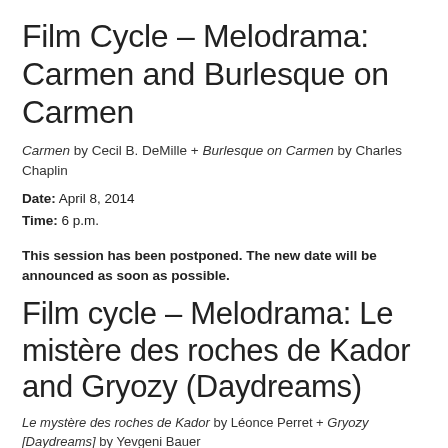Film Cycle – Melodrama: Carmen and Burlesque on Carmen
Carmen by Cecil B. DeMille + Burlesque on Carmen by Charles Chaplin
Date: April 8, 2014
Time: 6 p.m.
This session has been postponed. The new date will be announced as soon as possible.
Film cycle – Melodrama: Le mistère des roches de Kador and Gryozy (Daydreams)
Le mystère des roches de Kador by Léonce Perret + Gryozy [Daydreams] by Yevgeni Bauer